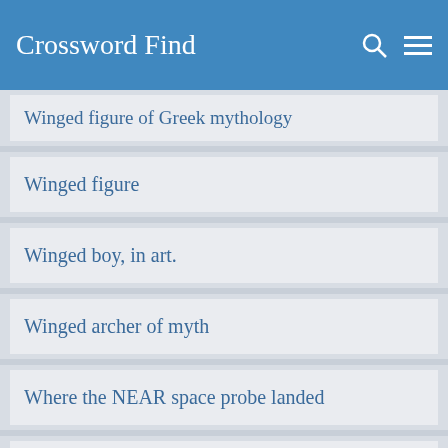Crossword Find
Winged figure of Greek mythology
Winged figure
Winged boy, in art.
Winged archer of myth
Where the NEAR space probe landed
Well-meaning shooter of myth
Valentines feature him.